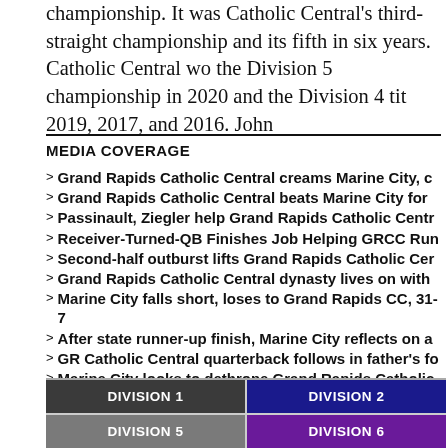championship. It was Catholic Central's third-straight championship and its fifth in six years. Catholic Central wo the Division 5 championship in 2020 and the Division 4 tit 2019, 2017, and 2016. John
MEDIA COVERAGE
Grand Rapids Catholic Central creams Marine City, c
Grand Rapids Catholic Central beats Marine City for
Passinault, Ziegler help Grand Rapids Catholic Centr
Receiver-Turned-QB Finishes Job Helping GRCC Run
Second-half outburst lifts Grand Rapids Catholic Cer
Grand Rapids Catholic Central dynasty lives on with
Marine City falls short, loses to Grand Rapids CC, 31-7
After state runner-up finish, Marine City reflects on a
GR Catholic Central quarterback follows in father's fo
Marine City looks to dethrone Grand Rapids Catholic
Marine City football's Scott Kretzschmar continuing
| DIVISION 1 | DIVISION 2 | DIVISION 5 | DIVISION 6 |
| --- | --- | --- | --- |